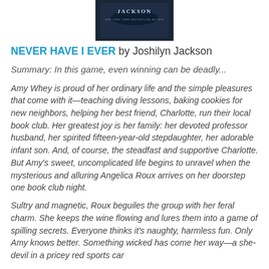[Figure (photo): Book cover image for Never Have I Ever by Joshilyn Jackson, showing author name and New York Times Bestselling Author label on dark background]
NEVER HAVE I EVER by Joshilyn Jackson
Summary: In this game, even winning can be deadly...
Amy Whey is proud of her ordinary life and the simple pleasures that come with it—teaching diving lessons, baking cookies for new neighbors, helping her best friend, Charlotte, run their local book club. Her greatest joy is her family: her devoted professor husband, her spirited fifteen-year-old stepdaughter, her adorable infant son. And, of course, the steadfast and supportive Charlotte. But Amy's sweet, uncomplicated life begins to unravel when the mysterious and alluring Angelica Roux arrives on her doorstep one book club night.
Sultry and magnetic, Roux beguiles the group with her feral charm. She keeps the wine flowing and lures them into a game of spilling secrets. Everyone thinks it's naughty, harmless fun. Only Amy knows better. Something wicked has come her way—a she-devil in a pricey red sports car